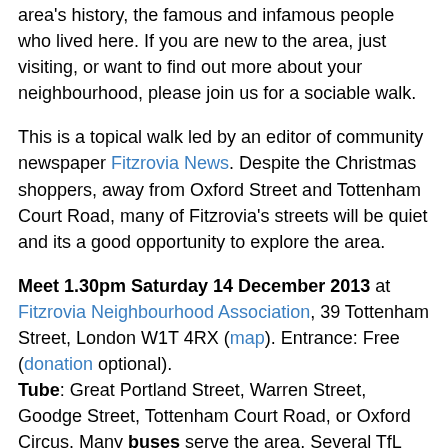area's history, the famous and infamous people who lived here. If you are new to the area, just visiting, or want to find out more about your neighbourhood, please join us for a sociable walk.
This is a topical walk led by an editor of community newspaper Fitzrovia News. Despite the Christmas shoppers, away from Oxford Street and Tottenham Court Road, many of Fitzrovia's streets will be quiet and its a good opportunity to explore the area.
Meet 1.30pm Saturday 14 December 2013 at Fitzrovia Neighbourhood Association, 39 Tottenham Street, London W1T 4RX (map). Entrance: Free (donation optional). Tube: Great Portland Street, Warren Street, Goodge Street, Tottenham Court Road, or Oxford Circus. Many buses serve the area. Several TfL cycle hire stations.